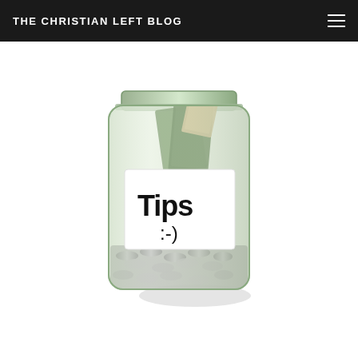THE CHRISTIAN LEFT BLOG
[Figure (photo): A glass mason jar labeled 'Tips :)' filled with coins and dollar bills, on a white background.]